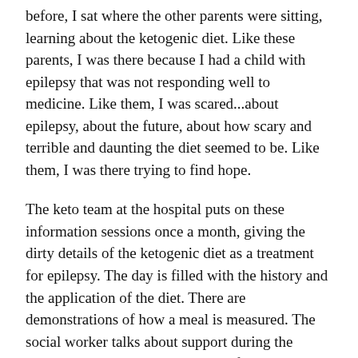before, I sat where the other parents were sitting, learning about the ketogenic diet. Like these parents, I was there because I had a child with epilepsy that was not responding well to medicine. Like them, I was scared...about epilepsy, about the future, about how scary and terrible and daunting the diet seemed to be. Like them, I was there trying to find hope.
The keto team at the hospital puts on these information sessions once a month, giving the dirty details of the ketogenic diet as a treatment for epilepsy. The day is filled with the history and the application of the diet. There are demonstrations of how a meal is measured. The social worker talks about support during the journey. And at the end, the grand finale, a parent of a keto kid takes the stage.